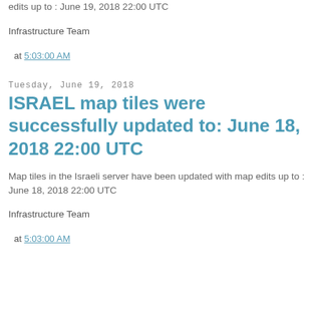edits up to : June 19, 2018 22:00 UTC
Infrastructure Team
at 5:03:00 AM
Tuesday, June 19, 2018
ISRAEL map tiles were successfully updated to: June 18, 2018 22:00 UTC
Map tiles in the Israeli server have been updated with map edits up to : June 18, 2018 22:00 UTC
Infrastructure Team
at 5:03:00 AM